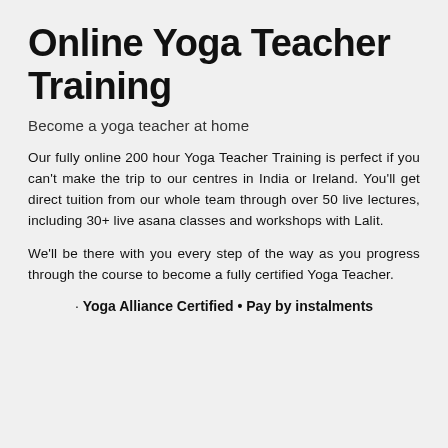Online Yoga Teacher Training
Become a yoga teacher at home
Our fully online 200 hour Yoga Teacher Training is perfect if you can't make the trip to our centres in India or Ireland. You'll get direct tuition from our whole team through over 50 live lectures, including 30+ live asana classes and workshops with Lalit.
We'll be there with you every step of the way as you progress through the course to become a fully certified Yoga Teacher.
· Yoga Alliance Certified • Pay by instalments